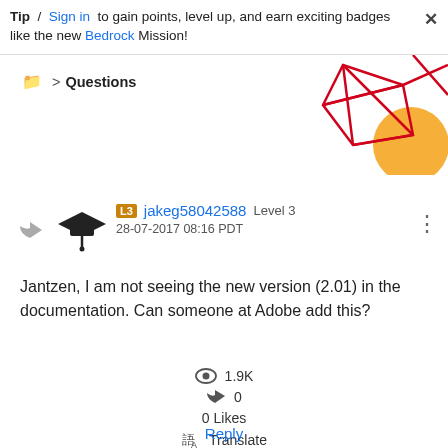Tip / Sign in to gain points, level up, and earn exciting badges like the new Bedrock Mission!
▶ Questions
[Figure (illustration): Decorative geometric graphic with red lines forming angular shapes and an orange circle, positioned in the top-right corner.]
jakeg58042588 Level 3 28-07-2017 08:16 PDT
Jantzen, I am not seeing the new version (2.01) in the documentation. Can someone at Adobe add this?
1.9K
0
0 Likes
Translate
Reply